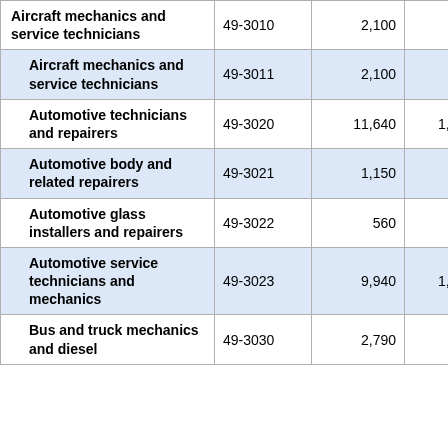| Occupation | SOC Code | Employment | Col3 | Col4 |
| --- | --- | --- | --- | --- |
| Aircraft mechanics and service technicians | 49-3010 | 2,100 | 130 |  |
| Aircraft mechanics and service technicians | 49-3011 | 2,100 | 130 |  |
| Automotive technicians and repairers | 49-3020 | 11,640 | 1,210 | 5( |
| Automotive body and related repairers | 49-3021 | 1,150 | 100 |  |
| Automotive glass installers and repairers | 49-3022 | 560 | - |  |
| Automotive service technicians and mechanics | 49-3023 | 9,940 | 1,090 | 4( |
| Bus and truck mechanics and diesel | 49-3030 | 2,790 | 410 | 1( |